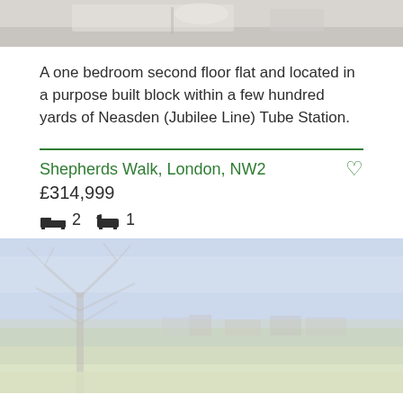[Figure (photo): Interior photo of a flat, partially visible at top of page showing a table or surface]
A one bedroom second floor flat and located in a purpose built block within a few hundred yards of Neasden (Jubilee Line) Tube Station.
Shepherds Walk, London, NW2
£314,999
2 bedrooms, 1 bathroom
[Figure (photo): Exterior photo of a property showing a tree and surrounding neighbourhood]